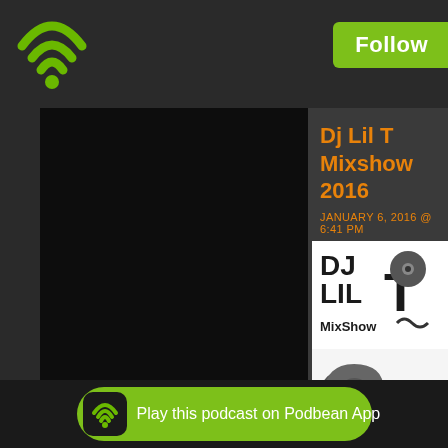[Figure (logo): Podbean WiFi/podcast signal icon in green, top left]
Follow
[Figure (screenshot): Dark black left panel, likely podcast cover art area]
Dj Lil T Mixshow 2016
JANUARY 6, 2016 @ 6:41 PM
[Figure (photo): DJ Lil T MixShow logo with 3D text showing DJ LIL T MixShow and 20 (2016)]
Play this podcast on Podbean App